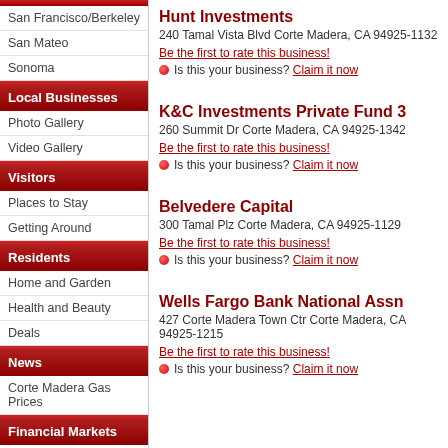San Francisco/Berkeley
San Mateo
Sonoma
Local Businesses
Photo Gallery
Video Gallery
Visitors
Places to Stay
Getting Around
Residents
Home and Garden
Health and Beauty
Deals
News
Corte Madera Gas Prices
Financial Markets
Stocks
Mutual Funds
Hunt Investments
240 Tamal Vista Blvd Corte Madera, CA 94925-1132
Be the first to rate this business!
Is this your business? Claim it now
K&C Investments Private Fund 3
260 Summit Dr Corte Madera, CA 94925-1342
Be the first to rate this business!
Is this your business? Claim it now
Belvedere Capital
300 Tamal Plz Corte Madera, CA 94925-1129
Be the first to rate this business!
Is this your business? Claim it now
Wells Fargo Bank National Assn
427 Corte Madera Town Ctr Corte Madera, CA 94925-1215
Be the first to rate this business!
Is this your business? Claim it now